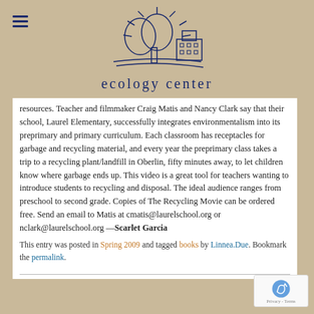[Figure (logo): Ecology Center logo with tree, building, and sun rays, in dark navy blue outline style]
ecology center
resources. Teacher and filmmaker Craig Matis and Nancy Clark say that their school, Laurel Elementary, successfully integrates environmentalism into its preprimary and primary curriculum. Each classroom has receptacles for garbage and recycling material, and every year the preprimary class takes a trip to a recycling plant/landfill in Oberlin, fifty minutes away, to let children know where garbage ends up. This video is a great tool for teachers wanting to introduce students to recycling and disposal. The ideal audience ranges from preschool to second grade. Copies of The Recycling Movie can be ordered free. Send an email to Matis at cmatis@laurelschool.org or nclark@laurelschool.org —Scarlet Garcia
This entry was posted in Spring 2009 and tagged books by Linnea.Due. Bookmark the permalink.